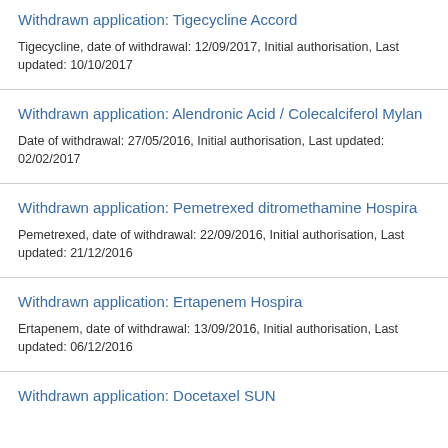Withdrawn application: Tigecycline Accord
Tigecycline, date of withdrawal: 12/09/2017, Initial authorisation, Last updated: 10/10/2017
Withdrawn application: Alendronic Acid / Colecalciferol Mylan
Date of withdrawal: 27/05/2016, Initial authorisation, Last updated: 02/02/2017
Withdrawn application: Pemetrexed ditromethamine Hospira
Pemetrexed, date of withdrawal: 22/09/2016, Initial authorisation, Last updated: 21/12/2016
Withdrawn application: Ertapenem Hospira
Ertapenem, date of withdrawal: 13/09/2016, Initial authorisation, Last updated: 06/12/2016
Withdrawn application: Docetaxel SUN